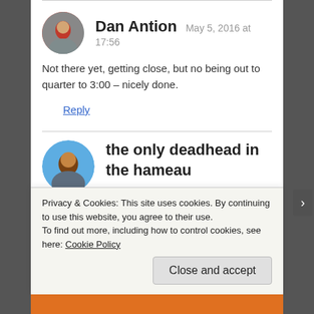Dan Antion  May 5, 2016 at 17:56
Not there yet, getting close, but no being out to quarter to 3:00 – nicely done.
Reply
the only deadhead in the hameau
May 6, 2016 at 11:52
Privacy & Cookies: This site uses cookies. By continuing to use this website, you agree to their use.
To find out more, including how to control cookies, see here: Cookie Policy
Close and accept